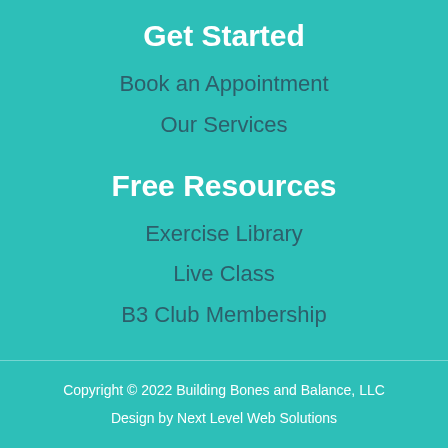Get Started
Book an Appointment
Our Services
Free Resources
Exercise Library
Live Class
B3 Club Membership
Copyright © 2022 Building Bones and Balance, LLC
Design by Next Level Web Solutions